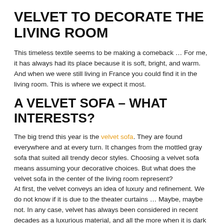VELVET TO DECORATE THE LIVING ROOM
This timeless textile seems to be making a comeback … For me, it has always had its place because it is soft, bright, and warm. And when we were still living in France you could find it in the living room. This is where we expect it most.
A VELVET SOFA – WHAT INTERESTS?
The big trend this year is the velvet sofa. They are found everywhere and at every turn. It changes from the mottled gray sofa that suited all trendy decor styles. Choosing a velvet sofa means assuming your decorative choices. But what does the velvet sofa in the center of the living room represent?
At first, the velvet conveys an idea of luxury and refinement. We do not know if it is due to the theater curtains … Maybe, maybe not. In any case, velvet has always been considered in recent decades as a luxurious material, and all the more when it is dark in color like blue, black, or burgundy. Velvet also creates a warm atmosphere and in the living room, it is often sought after. If you have a banal room that lacks character, which is a little cold, the velvet sofa will immediately warm the